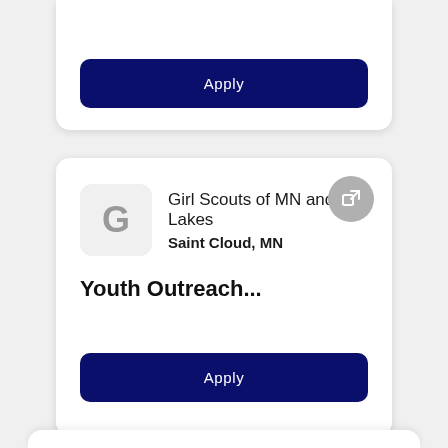Apply
Girl Scouts of MN and WI Lakes
Saint Cloud, MN
Youth Outreach...
Apply